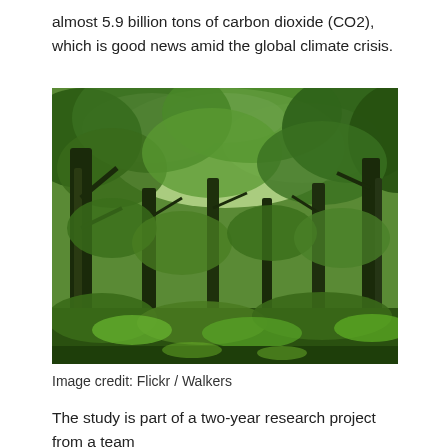almost 5.9 billion tons of carbon dioxide (CO2), which is good news amid the global climate crisis.
[Figure (photo): A lush green forest with tall trees, dense canopy and green undergrowth, photographed from ground level looking upward and outward.]
Image credit: Flickr / Walkers
The study is part of a two-year research project from a team